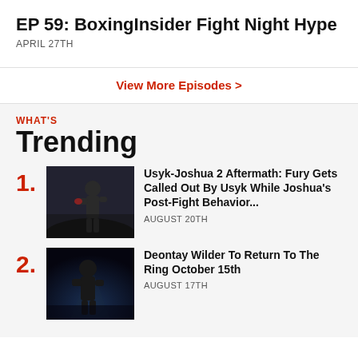EP 59: BoxingInsider Fight Night Hype
APRIL 27TH
View More Episodes >
WHAT'S Trending
1. Usyk-Joshua 2 Aftermath: Fury Gets Called Out By Usyk While Joshua's Post-Fight Behavior... AUGUST 20TH
2. Deontay Wilder To Return To The Ring October 15th AUGUST 17TH